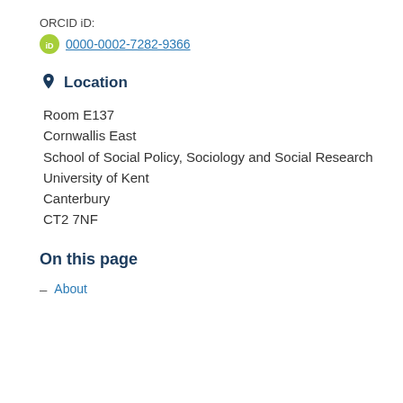ORCID iD:
0000-0002-7282-9366
Location
Room E137
Cornwallis East
School of Social Policy, Sociology and Social Research
University of Kent
Canterbury
CT2 7NF
On this page
About